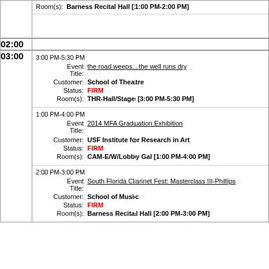| Time | Events |
| --- | --- |
|  | Room(s): Barness Recital Hall [1:00 PM-2:00 PM] |
| 02:00 |  |
| 03:00 | 3:00 PM-5:30 PM | Event Title: the road weeps...the well runs dry | Customer: School of Theatre | Status: FIRM | Room(s): THR-Hall/Stage [3:00 PM-5:30 PM] |
|  | 1:00 PM-4:00 PM | Event Title: 2014 MFA Graduation Exhibition | Customer: USF Institute for Research in Art | Status: FIRM | Room(s): CAM-E/W/Lobby Gal [1:00 PM-4:00 PM] |
|  | 2:00 PM-3:00 PM | Event Title: South Florida Clarinet Fest: Masterclass III-Phillips | Customer: School of Music | Status: FIRM | Room(s): Barness Recital Hall [2:00 PM-3:00 PM] |